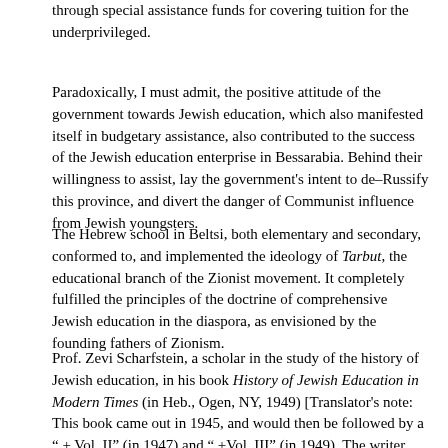through special assistance funds for covering tuition for the underprivileged.
Paradoxically, I must admit, the positive attitude of the government towards Jewish education, which also manifested itself in budgetary assistance, also contributed to the success of the Jewish education enterprise in Bessarabia. Behind their willingness to assist, lay the government's intent to de–Russify this province, and divert the danger of Communist influence from Jewish youngsters.
The Hebrew school in Beltsi, both elementary and secondary, conformed to, and implemented the ideology of Tarbut, the educational branch of the Zionist movement. It completely fulfilled the principles of the doctrine of comprehensive Jewish education in the diaspora, as envisioned by the founding fathers of Zionism.
Prof. Zevi Scharfstein, a scholar in the study of the history of Jewish education, in his book History of Jewish Education in Modern Times (in Heb., Ogen, NY, 1949) [Translator's note: This book came out in 1945, and would then be followed by a " + Vol. II" (in 1947) and " +Vol. III" (in 1949). The writer gives the title of the 1945 one, but cites the year as 1949. So, not really sure about how to cite the title of this book (i.e. amend the title, or amend the year). Left as is for now.], p. 25, expresses the approach that mandated the teaching of all subjects, not just Judaic studies, in